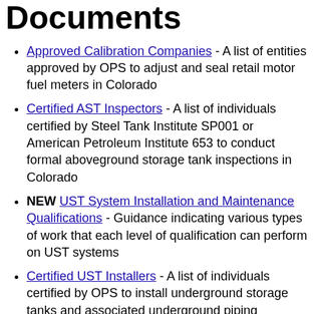Documents
Approved Calibration Companies - A list of entities approved by OPS to adjust and seal retail motor fuel meters in Colorado
Certified AST Inspectors - A list of individuals certified by Steel Tank Institute SP001 or American Petroleum Institute 653 to conduct formal aboveground storage tank inspections in Colorado
NEW UST System Installation and Maintenance Qualifications - Guidance indicating various types of work that each level of qualification can perform on UST systems
Certified UST Installers - A list of individuals certified by OPS to install underground storage tanks and associated underground piping
Certified Qualified Service Technicians - A list of individuals certified by OPS to perform certain tasks on regulated storage tank systems and associated